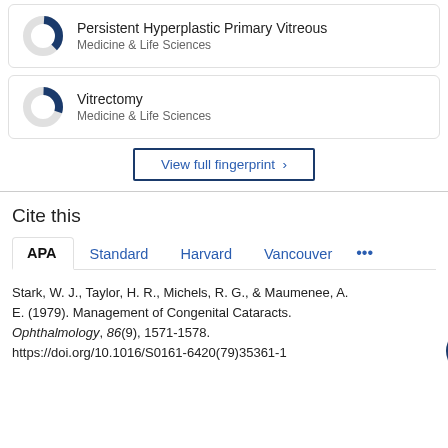[Figure (donut-chart): Donut chart showing approximately 37% fill for Persistent Hyperplastic Primary Vitreous, Medicine & Life Sciences]
Persistent Hyperplastic Primary Vitreous
Medicine & Life Sciences
[Figure (donut-chart): Donut chart showing approximately 30% fill for Vitrectomy, Medicine & Life Sciences]
Vitrectomy
Medicine & Life Sciences
View full fingerprint ›
Cite this
APA  Standard  Harvard  Vancouver  •••
Stark, W. J., Taylor, H. R., Michels, R. G., & Maumenee, A. E. (1979). Management of Congenital Cataracts. Ophthalmology, 86(9), 1571-1578. https://doi.org/10.1016/S0161-6420(79)35361-1